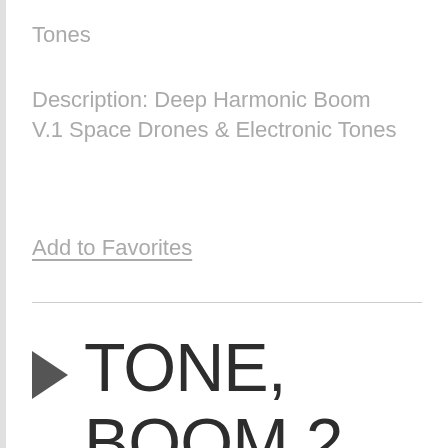Tones
Description: Deep Harmonic Boom V.1 Space Drones & Electronic Tones
Add to Favorites
▶ TONE, BOOM 2